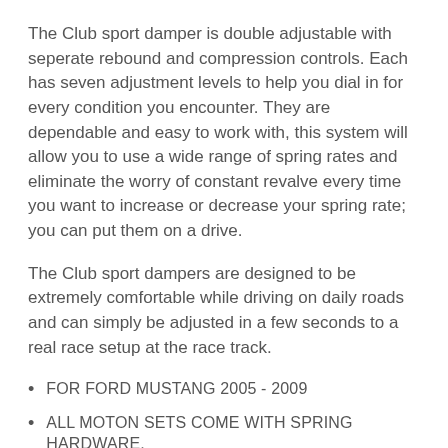The Club sport damper is double adjustable with seperate rebound and compression controls. Each has seven adjustment levels to help you dial in for every condition you encounter. They are dependable and easy to work with, this system will allow you to use a wide range of spring rates and eliminate the worry of constant revalve every time you want to increase or decrease your spring rate; you can put them on a drive.
The Club sport dampers are designed to be extremely comfortable while driving on daily roads and can simply be adjusted in a few seconds to a real race setup at the race track.
FOR FORD MUSTANG 2005 - 2009
ALL MOTON SETS COME WITH SPRING HARDWARE, MOUNTING BUSHINGS AND CAMBERPLATES
SEPERATE BUMP (7) AND REBOUND (7) CONTROL